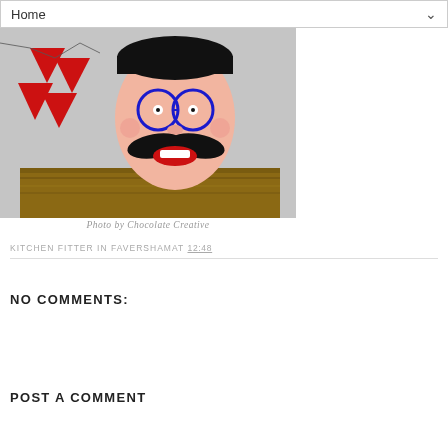Home
[Figure (photo): A decorative craft head/doll with black hair, round blue glasses, a large black mustache, and a big smile with red lips, displayed on a wooden surface against a grey wall with red bunting triangles in the background.]
Photo by Chocolate Creative
KITCHEN FITTER IN FAVERSHAM AT 12:48
NO COMMENTS:
POST A COMMENT